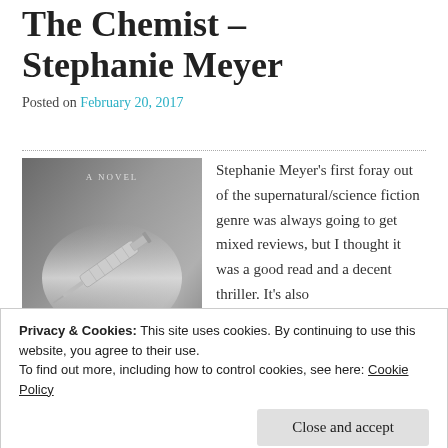The Chemist – Stephanie Meyer
Posted on February 20, 2017
[Figure (photo): Book cover of 'The Chemist' by Stephanie Meyer — a novel. Dark grey cover with a syringe/injection device shown diagonally. Large text reads THE CHEMIST at the bottom.]
Stephanie Meyer's first foray out of the supernatural/science fiction genre was always going to get mixed reviews, but I thought it was a good read and a decent thriller. It's also
Privacy & Cookies: This site uses cookies. By continuing to use this website, you agree to their use.
To find out more, including how to control cookies, see here: Cookie Policy
Close and accept
format and The Chemist was no exception.